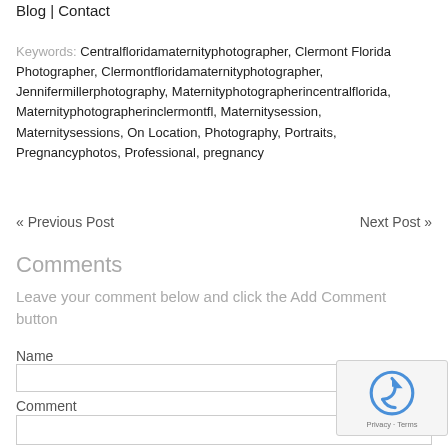Blog | Contact
Keywords: Centralfloridamaternityphotographer, Clermont Florida Photographer, Clermontfloridamaternityphotographer, Jennifermillerphotography, Maternityphotographerincentralflorida, Maternityphotographerinclermontfl, Maternitysession, Maternitysessions, On Location, Photography, Portraits, Pregnancyphotos, Professional, pregnancy
« Previous Post    Next Post »
Comments
Leave your comment below and click the Add Comment button
Name
Comment